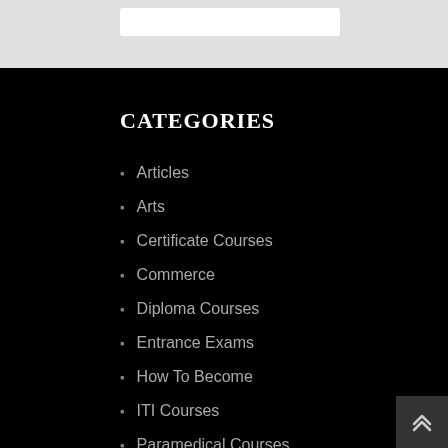CATEGORIES
Articles
Arts
Certificate Courses
Commerce
Diploma Courses
Entrance Exams
How To Become
ITI Courses
Paramedical Courses
Recruitment
Science